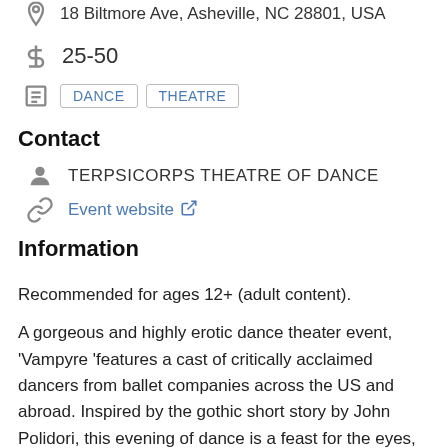18 Biltmore Ave, Asheville, NC 28801, USA
25-50
DANCE
THEATRE
Contact
TERPSICORPS THEATRE OF DANCE
Event website
Information
Recommended for ages 12+ (adult content).
A gorgeous and highly erotic dance theater event, 'Vampyre 'features a cast of critically acclaimed dancers from ballet companies across the US and abroad. Inspired by the gothic short story by John Polidori, this evening of dance is a feast for the eyes, transporting the audience to a world of darkness and beauty that will haunt your memory for years to come. Only